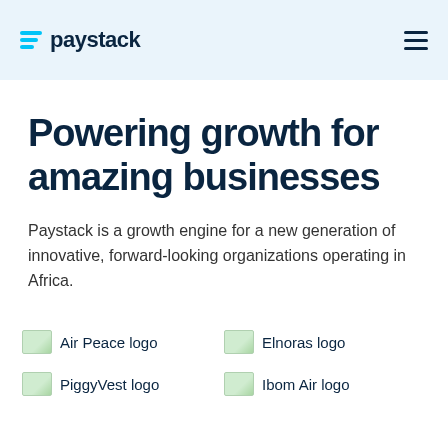paystack
Powering growth for amazing businesses
Paystack is a growth engine for a new generation of innovative, forward-looking organizations operating in Africa.
[Figure (logo): Air Peace logo]
[Figure (logo): Elnoras logo]
[Figure (logo): PiggyVest logo]
[Figure (logo): Ibom Air logo]